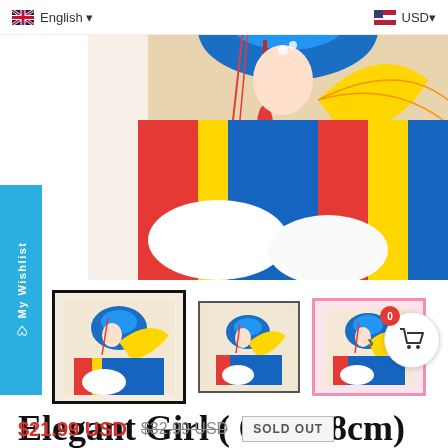English   USD
[Figure (illustration): Top portion of a Chinese opera / Peking opera female character in colorful traditional costume with blue headdress, holding a fan, with red tassels. Illustration style.]
[Figure (illustration): Wishlist sidebar button on the left side of the page]
[Figure (illustration): Three product thumbnail images of the cross stitch pattern showing an elegant girl in Chinese opera costume with blue headdress and yellow fan. First thumbnail has thick black border (selected). Second has thin dark border. Third has pink/rose border.]
Elegant Girl ( 65 * 88cm) 11CT stamped cross stitch
$21.99 USD  $32.99 USD   SOLD OUT